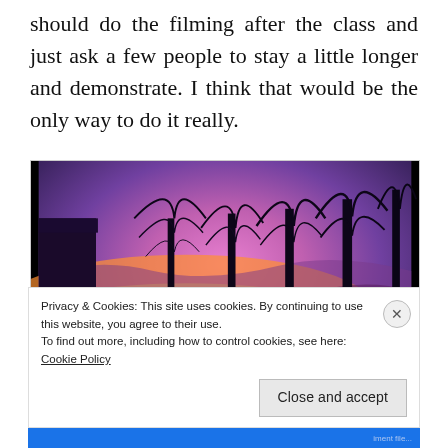should do the filming after the class and just ask a few people to stay a little longer and demonstrate. I think that would be the only way to do it really.
[Figure (photo): A scenic sunset or sunrise photograph showing silhouetted bare trees against a vivid purple and orange sky with a lake or water body reflecting the colorful sky. A building or structure is visible on the left edge.]
Privacy & Cookies: This site uses cookies. By continuing to use this website, you agree to their use.
To find out more, including how to control cookies, see here: Cookie Policy
Close and accept